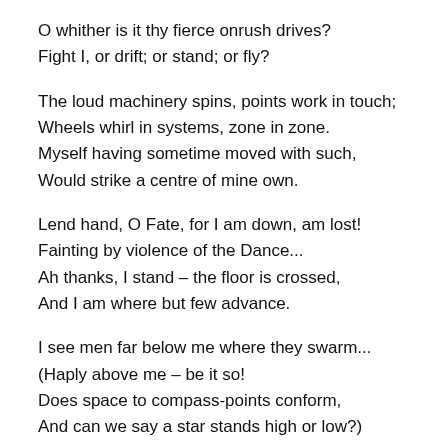O whither is it thy fierce onrush drives?
Fight I, or drift; or stand; or fly?
The loud machinery spins, points work in touch;
Wheels whirl in systems, zone in zone.
Myself having sometime moved with such,
Would strike a centre of mine own.
Lend hand, O Fate, for I am down, am lost!
Fainting by violence of the Dance...
Ah thanks, I stand – the floor is crossed,
And I am where but few advance.
I see men far below me where they swarm...
(Haply above me – be it so!
Does space to compass-points conform,
And can we say a star stands high or low?)